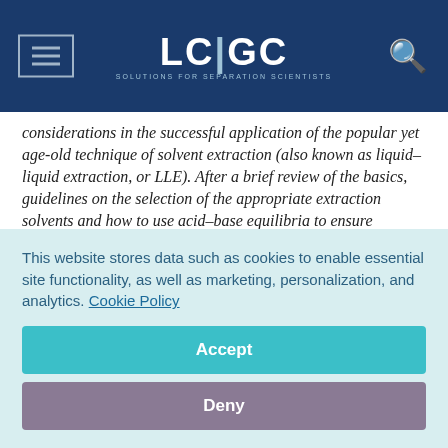LC|GC — Solutions for Separation Scientists
considerations in the successful application of the popular yet age-old technique of solvent extraction (also known as liquid–liquid extraction, or LLE). After a brief review of the basics, guidelines on the selection of the appropriate extraction solvents and how to use acid–base equilibria to ensure efficient extractions of ionic and ionizable compounds are provided. Problems in LLE and the solutions to these problems are highlighted. A newer technique called dispersive liquid–liquid microextraction (DLLME) is introduced.
This website stores data such as cookies to enable essential site functionality, as well as marketing, personalization, and analytics. Cookie Policy
Accept
Deny